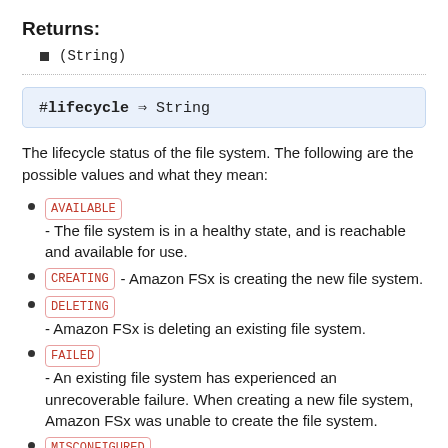Returns:
(String)
The lifecycle status of the file system. The following are the possible values and what they mean:
AVAILABLE - The file system is in a healthy state, and is reachable and available for use.
CREATING - Amazon FSx is creating the new file system.
DELETING - Amazon FSx is deleting an existing file system.
FAILED - An existing file system has experienced an unrecoverable failure. When creating a new file system, Amazon FSx was unable to create the file system.
MISCONFIGURED - The file system is in a failed but recoverable state.
MISCONFIGURED_UNAVAILABLE - (Amazon FSx for